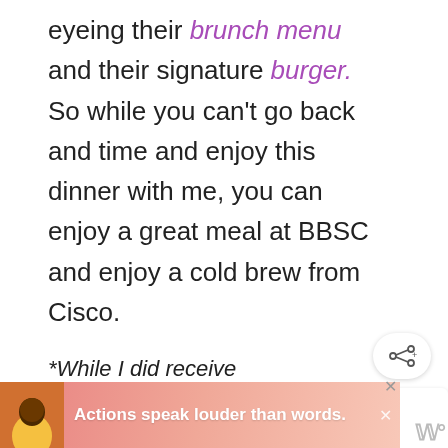eyeing their brunch menu and their signature burger. So while you can't go back and time and enjoy this dinner with me, you can enjoy a great meal at BBSC and enjoy a cold brew from Cisco.
*While I did receive
[Figure (screenshot): Social media UI sidebar with heart/like button (teal circle with heart icon), count '1', share button, and 'WHAT'S NEXT' preview card showing BBQ Chip Shake and...]
[Figure (screenshot): Ad banner at bottom: person image on left, text 'Actions speak louder than words.' in white bold on pink/salmon gradient background, with close X button]